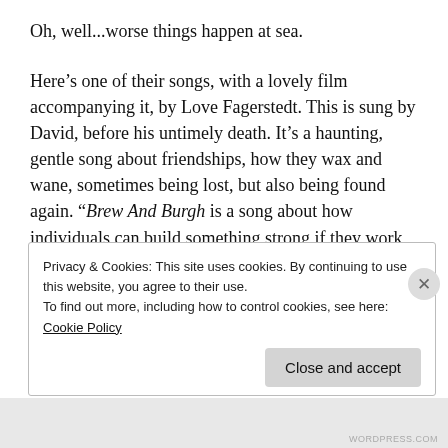Oh, well...worse things happen at sea.
Here’s one of their songs, with a lovely film accompanying it, by Love Fagerstedt. This is sung by David, before his untimely death. It’s a haunting, gentle song about friendships, how they wax and wane, sometimes being lost, but also being found again. “Brew And Burgh is a song about how individuals can build something strong if they work together,” explains bassist Greg Spawton, who wrote the song. “And, even
Privacy & Cookies: This site uses cookies. By continuing to use this website, you agree to their use.
To find out more, including how to control cookies, see here:
Cookie Policy
Close and accept